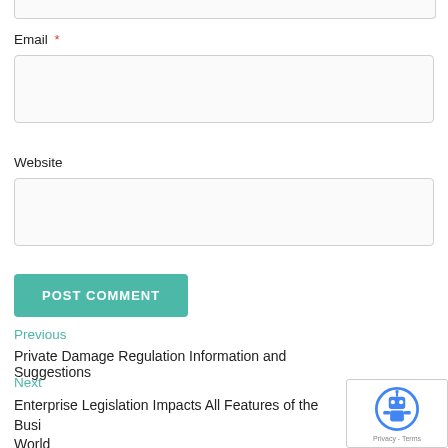Email *
[Figure (other): Empty email input text field with light gray border]
Website
[Figure (other): Empty website input text field with light gray border]
POST COMMENT
Previous
Private Damage Regulation Information and Suggestions
Next
Enterprise Legislation Impacts All Features of the Business World
[Figure (other): reCAPTCHA badge with robot icon and Privacy - Terms text]